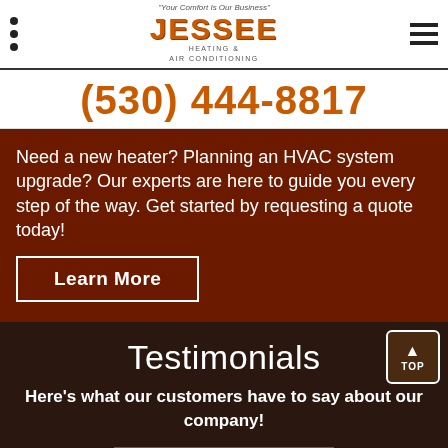Jessee Heating & Air Conditioning - Your Comfort Is Our Business
(530) 444-8817
Need a new heater? Planning an HVAC system upgrade? Our experts are here to guide you every step of the way. Get started by requesting a quote today!
Learn More
Testimonials
Here's what our customers have to say about our company!
FREE ESTIMATE